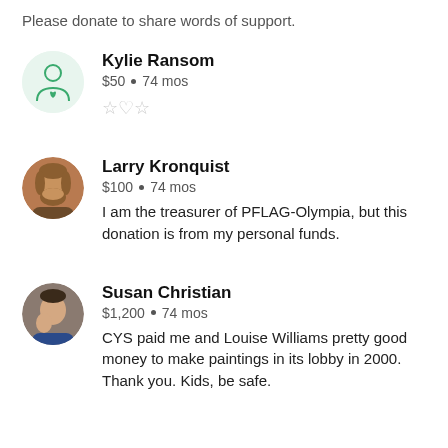Please donate to share words of support.
Kylie Ransom · $50 · 74 mos
Larry Kronquist · $100 · 74 mos · I am the treasurer of PFLAG-Olympia, but this donation is from my personal funds.
Susan Christian · $1,200 · 74 mos · CYS paid me and Louise Williams pretty good money to make paintings in its lobby in 2000. Thank you. Kids, be safe.